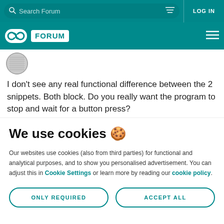Search Forum | LOG IN
Arduino FORUM
[Figure (illustration): User avatar - circular profile picture with grid/mesh pattern]
I don't see any real functional difference between the 2 snippets. Both block. Do you really want the program to stop and wait for a button press?
We use cookies 🍪
Our websites use cookies (also from third parties) for functional and analytical purposes, and to show you personalised advertisement. You can adjust this in Cookie Settings or learn more by reading our cookie policy.
ONLY REQUIRED
ACCEPT ALL